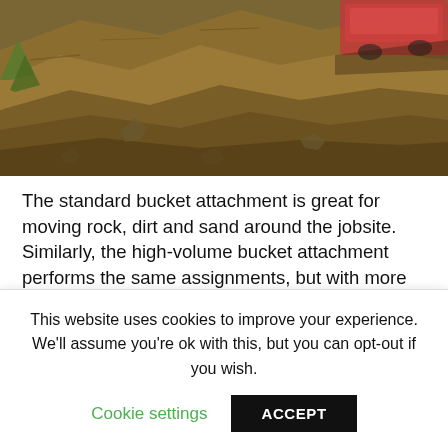[Figure (photo): Aerial or angled view of a vehicle (red/pink) descending a steep dirt mound or jobsite terrain with loose soil and rocks]
The standard bucket attachment is great for moving rock, dirt and sand around the jobsite. Similarly, the high-volume bucket attachment performs the same assignments, but with more capacity (9 cu ft) to hold materials – especially mulch. How to use it? Position the bucket level to the ground and drive forward to insert the bucket into the pile of material. Once full, drive in reverse while gently tilting the bucket backwards before lifting to ensure the load stays
This website uses cookies to improve your experience. We'll assume you're ok with this, but you can opt-out if you wish.
Cookie settings
ACCEPT